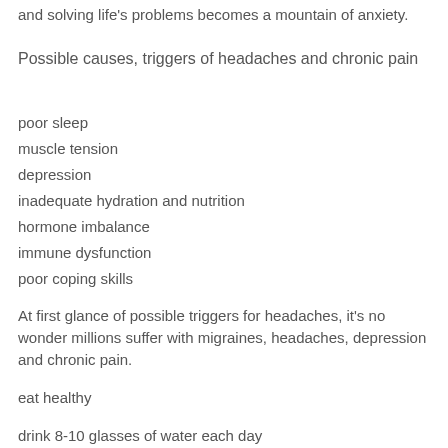and solving life's problems becomes a mountain of anxiety.
Possible causes, triggers of headaches and chronic pain
poor sleep
muscle tension
depression
inadequate hydration and nutrition
hormone imbalance
immune dysfunction
poor coping skills
At first glance of possible triggers for headaches, it's no wonder millions suffer with migraines, headaches, depression and chronic pain.
eat healthy
drink 8-10 glasses of water each day